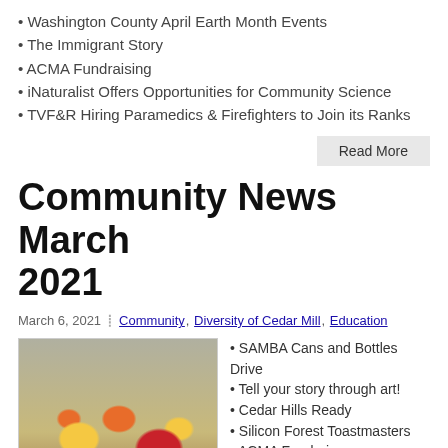• Washington County April Earth Month Events
• The Immigrant Story
• ACMA Fundraising
• iNaturalist Offers Opportunities for Community Science
• TVF&R Hiring Paramedics & Firefighters to Join its Ranks
Read More
Community News March 2021
March 6, 2021   Community, Diversity of Cedar Mill, Education
[Figure (photo): Colorful flower bouquet with sunflowers, red and orange flowers in a basket, photographed outdoors on pavement.]
• SAMBA Cans and Bottles Drive
• Tell your story through art!
• Cedar Hills Ready
• Silicon Forest Toastmasters
• ACMA Fundraiser
• Summer Program Expo
• Free presentations provide information, tips, and tools for K-8 parents/guardians
• Washington County Earth Month Events for...